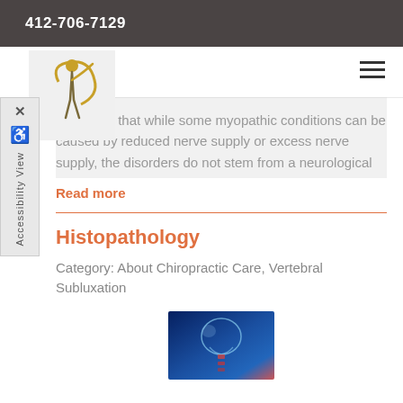412-706-7129
[Figure (logo): Chiropractic practice logo with stylized figure and orange/gold swoosh]
recognize that while some myopathic conditions can be caused by reduced nerve supply or excess nerve supply, the disorders do not stem from a neurological
Read more
Histopathology
Category: About Chiropractic Care, Vertebral Subluxation
[Figure (photo): Medical illustration of human skull and cervical spine in blue tones with highlighted anatomy]